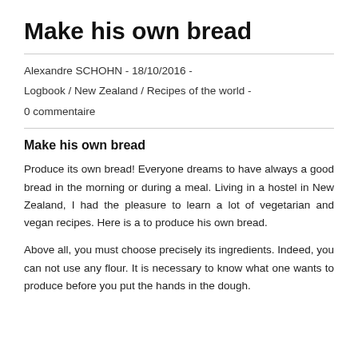Make his own bread
Alexandre SCHOHN  -  18/10/2016  -
Logbook  /  New Zealand  /  Recipes of the world  -
0 commentaire
Make his own bread
Produce its own bread! Everyone dreams to have always a good bread in the morning or during a meal. Living in a hostel in New Zealand, I had the pleasure to learn a lot of vegetarian and vegan recipes. Here is a to produce his own bread.
Above all, you must choose precisely its ingredients. Indeed, you can not use any flour. It is necessary to know what one wants to produce before you put the hands in the dough.